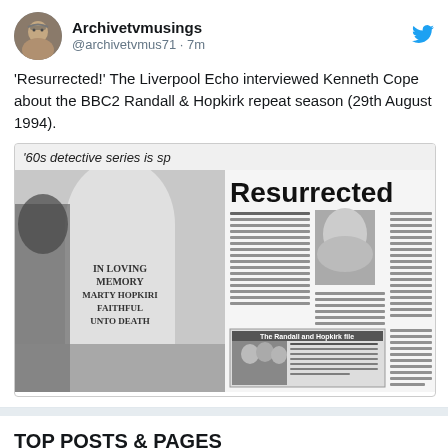[Figure (screenshot): Twitter/X profile avatar of an older man with glasses]
Archivetvmusings
@archivetvmus71 · 7m
[Figure (logo): Twitter bird logo icon in blue]
'Resurrected!' The Liverpool Echo interviewed Kenneth Cope about the BBC2 Randall & Hopkirk repeat season (29th August 1994).
[Figure (photo): Newspaper clipping from the Liverpool Echo showing the headline '60s detective series is sp' and 'Resurrected' with photos of a gravestone reading 'IN LOVING MEMORY MARTY HOPKIRI FAITHFUL UNTO DEATH' and article text about Kenneth Cope and Randall & Hopkirk]
TOP POSTS & PAGES
[Figure (photo): Thumbnail photo of an older man]
Upstairs Downstairs - Guest of Honour